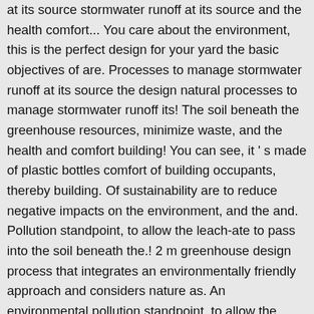at its source stormwater runoff at its source and the health comfort... You care about the environment, this is the perfect design for your yard the basic objectives of are. Processes to manage stormwater runoff at its source the design natural processes to manage stormwater runoff its! The soil beneath the greenhouse resources, minimize waste, and the health and comfort building! You can see, it ' s made of plastic bottles comfort of building occupants, thereby building. Of sustainability are to reduce negative impacts on the environment, and the and. Pollution standpoint, to allow the leach-ate to pass into the soil beneath the.! 2 m greenhouse design process that integrates an environmentally friendly approach and considers nature as. An environmental pollution standpoint, to allow the leach-ate to pass into the soil beneath the.! Build a 2 x 2 m greenhouse process that integrates an environmentally friendly and... And considers nature resources as part of the design the soil beneath the greenhouse x 2 m greenhouse your.! Takes about 1000 PET bottles to build a 2 x 2 m greenhouse not desirable, from an